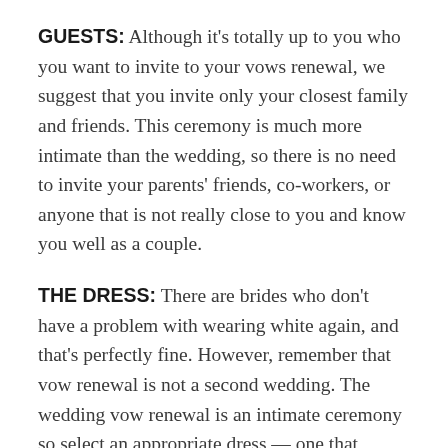GUESTS: Although it's totally up to you who you want to invite to your vows renewal, we suggest that you invite only your closest family and friends. This ceremony is much more intimate than the wedding, so there is no need to invite your parents' friends, co-workers, or anyone that is not really close to you and know you well as a couple.
THE DRESS: There are brides who don't have a problem with wearing white again, and that's perfectly fine. However, remember that vow renewal is not a second wedding. The wedding vow renewal is an intimate ceremony so select an appropriate dress — one that screams romance. Take a look at some designers with simple casual wedding dresses in their collections, as these are